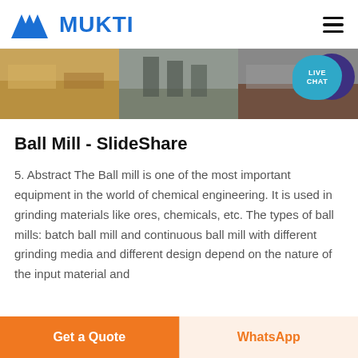[Figure (logo): Mukti company logo with blue geometric mountain/M symbol and blue bold text MUKTI]
[Figure (photo): Banner strip of three industrial/construction site photos showing quarry/mining operations]
Ball Mill - SlideShare
5. Abstract The Ball mill is one of the most important equipment in the world of chemical engineering. It is used in grinding materials like ores, chemicals, etc. The types of ball mills: batch ball mill and continuous ball mill with different grinding media and different design depend on the nature of the input material and